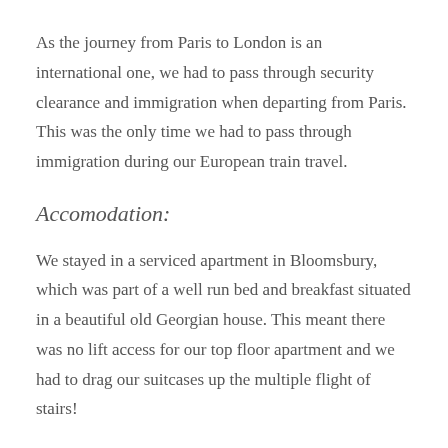As the journey from Paris to London is an international one, we had to pass through security clearance and immigration when departing from Paris. This was the only time we had to pass through immigration during our European train travel.
Accomodation:
We stayed in a serviced apartment in Bloomsbury, which was part of a well run bed and breakfast situated in a beautiful old Georgian house. This meant there was no lift access for our top floor apartment and we had to drag our suitcases up the multiple flight of stairs!